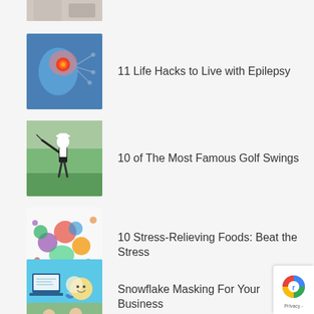[Figure (photo): Partial thumbnail visible at top of page - cropped]
11 Life Hacks to Live with Epilepsy
10 of The Most Famous Golf Swings
10 Stress-Relieving Foods: Beat the Stress
Snowflake Masking For Your Business
Top 15 Effective Weight Loss Tips Plus